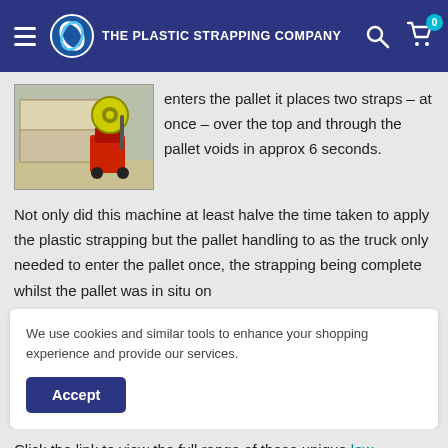THE PLASTIC STRAPPING COMPANY
[Figure (photo): A pallet strapping machine next to stacked pallets, with yellow reel of strapping visible]
enters the pallet it places two straps – at once – over the top and through the pallet voids in approx 6 seconds.
Not only did this machine at least halve the time taken to apply the plastic strapping but the pallet handling to as the truck only needed to enter the pallet once, the strapping being complete whilst the pallet was in situ on
We use cookies and similar tools to enhance your shopping experience and provide our services.
Accept
Click the link to view the full range of these unique low